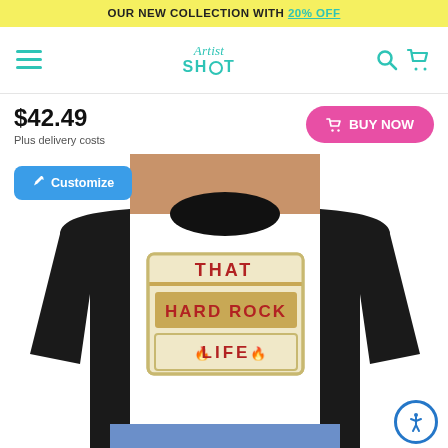OUR NEW COLLECTION WITH 20% OFF
[Figure (logo): ArtistShot logo with hamburger menu, search and cart icons]
$42.49
Plus delivery costs
[Figure (photo): Black crop sweatshirt with 'THAT HARD ROCK LIFE' graphic print, worn by a model]
Customize
BUY NOW